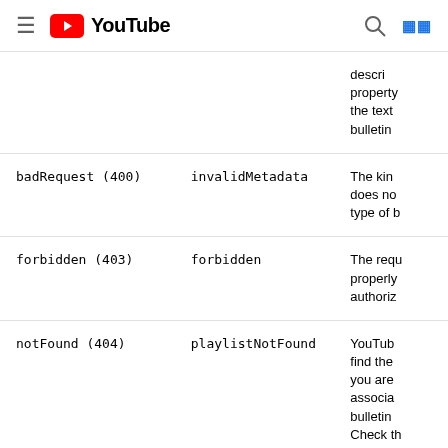YouTube
| HTTP error | Reason | Description |
| --- | --- | --- |
|  |  | descri
property
the text
bulletin |
| badRequest (400) | invalidMetadata | The kin
does no
type of b |
| forbidden (403) | forbidden | The requ
properly
authoriz |
| notFound (404) | playlistNotFound | YouTub
find the
you are
associa
bulletin
Check th
the
content |